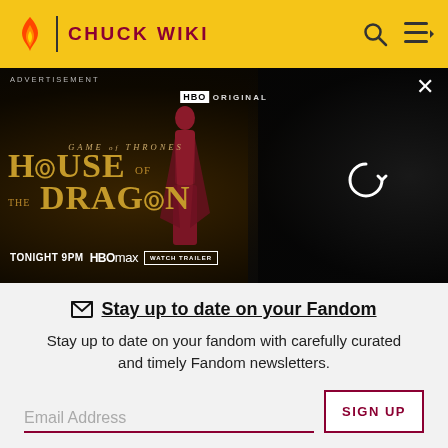CHUCK WIKI
[Figure (screenshot): HBO Original advertisement for House of the Dragon (Game of Thrones) — TONIGHT 9PM, HBO Max, WATCH TRAILER button. Dark fantasy background with dragon imagery and a woman in red.]
Stay up to date on your Fandom
Stay up to date on your fandom with carefully curated and timely Fandom newsletters.
Email Address
SIGN UP